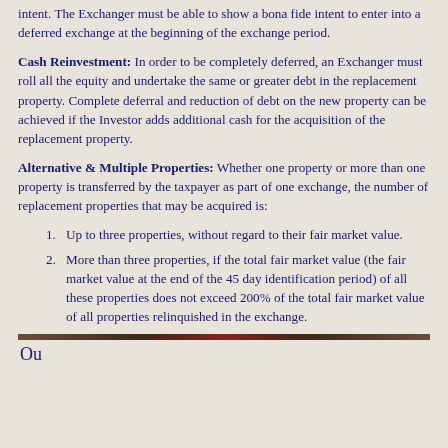intent. The Exchanger must be able to show a bona fide intent to enter into a deferred exchange at the beginning of the exchange period.
Cash Reinvestment: In order to be completely deferred, an Exchanger must roll all the equity and undertake the same or greater debt in the replacement property. Complete deferral and reduction of debt on the new property can be achieved if the Investor adds additional cash for the acquisition of the replacement property.
Alternative & Multiple Properties: Whether one property or more than one property is transferred by the taxpayer as part of one exchange, the number of replacement properties that may be acquired is:
Up to three properties, without regard to their fair market value.
More than three properties, if the total fair market value (the fair market value at the end of the 45 day identification period) of all these properties does not exceed 200% of the total fair market value of all properties relinquished in the exchange.
Ou...